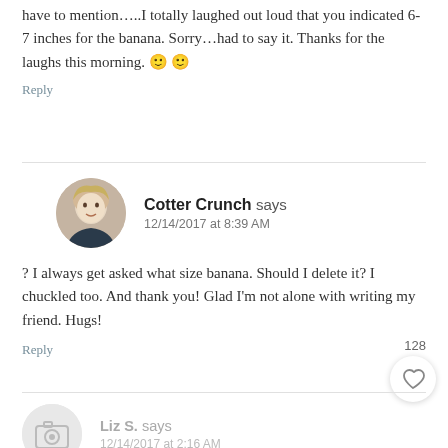have to mention…..I totally laughed out loud that you indicated 6-7 inches for the banana. Sorry…had to say it. Thanks for the laughs this morning. 🙂 🙂
Reply
Cotter Crunch says
12/14/2017 at 8:39 AM
? I always get asked what size banana. Should I delete it? I chuckled too. And thank you! Glad I'm not alone with writing my friend. Hugs!
Reply
Liz S. says
12/14/2017 at 2:16 AM